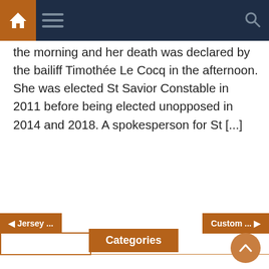Navigation bar with home, menu, and search icons
the morning and her death was declared by the bailiff Timothée Le Cocq in the afternoon. She was elected St Savior Constable in 2011 before being elected unopposed in 2014 and 2018. A spokesperson for St [...]
Categories
Authentic jersey
Baseball jersey
Customized jersey
Jersey brand
Jersey store